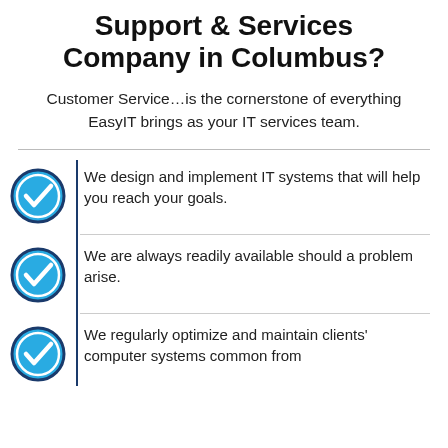Support & Services Company in Columbus?
Customer Service…is the cornerstone of everything EasyIT brings as your IT services team.
We design and implement IT systems that will help you reach your goals.
We are always readily available should a problem arise.
We regularly optimize and maintain clients' computer systems common from